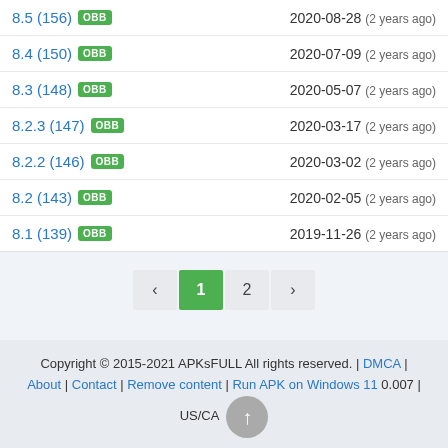8.5 (156) OBB  2020-08-28 (2 years ago)
8.4 (150) OBB  2020-07-09 (2 years ago)
8.3 (148) OBB  2020-05-07 (2 years ago)
8.2.3 (147) OBB  2020-03-17 (2 years ago)
8.2.2 (146) OBB  2020-03-02 (2 years ago)
8.2 (143) OBB  2020-02-05 (2 years ago)
8.1 (139) OBB  2019-11-26 (2 years ago)
< 1 2 > (pagination)
Copyright © 2015-2021 APKsFULL All rights reserved. | DMCA | About | Contact | Remove content | Run APK on Windows 11 0.007 | US/CA